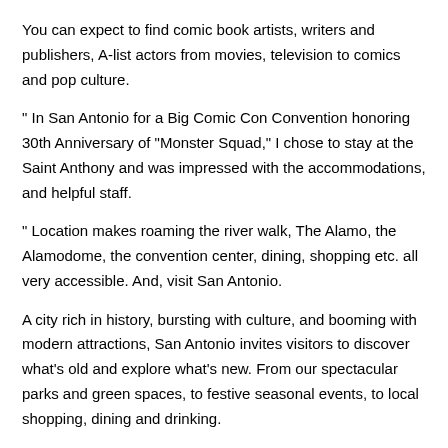You can expect to find comic book artists, writers and publishers, A-list actors from movies, television to comics and pop culture.
" In San Antonio for a Big Comic Con Convention honoring 30th Anniversary of "Monster Squad," I chose to stay at the Saint Anthony and was impressed with the accommodations, and helpful staff.
" Location makes roaming the river walk, The Alamo, the Alamodome, the convention center, dining, shopping etc. all very accessible. And, visit San Antonio.
A city rich in history, bursting with culture, and booming with modern attractions, San Antonio invites visitors to discover what’s old and explore what’s new. From our spectacular parks and green spaces, to festive seasonal events, to local shopping, dining and drinking.
We have it all. E Market St San Antonio, TX /5(28). Plan elevated events, from lavish weddings to board meetings, in square feet of modern venue space at our downtown San Antonio hotel.
Learn more ; Our hotel places you in downtown San Antonio, steps